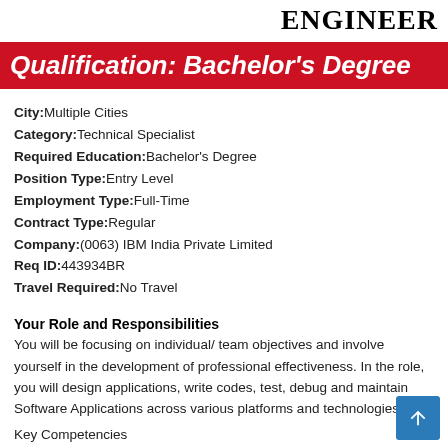ENGINEER
Qualification: Bachelor's Degree
City:Multiple Cities
Category:Technical Specialist
Required Education:Bachelor's Degree
Position Type:Entry Level
Employment Type:Full-Time
Contract Type:Regular
Company:(0063) IBM India Private Limited
Req ID:443934BR
Travel Required:No Travel
Your Role and Responsibilities
You will be focusing on individual/ team objectives and involve yourself in the development of professional effectiveness. In the role, you will design applications, write codes, test, debug and maintain Software Applications across various platforms and technologies.
Key Competencies
We are looking for following skills from you: